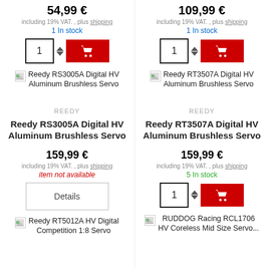54,99 €
including 19% VAT. , plus shipping
1 In stock
[Figure (screenshot): Quantity input box with spinner arrows and red add-to-cart button with cart icon (left column)]
[Figure (screenshot): Thumbnail image placeholder for Reedy RS3005A Digital HV Aluminum Brushless Servo (left column)]
Reedy RS3005A Digital HV Aluminum Brushless Servo
109,99 €
including 19% VAT. , plus shipping
1 In stock
[Figure (screenshot): Quantity input box with spinner arrows and red add-to-cart button with cart icon (right column)]
[Figure (screenshot): Thumbnail image placeholder for Reedy RT3507A Digital HV Aluminum Brushless Servo (right column)]
Reedy RT3507A Digital HV Aluminum Brushless Servo
REEDY
Reedy RS3005A Digital HV Aluminum Brushless Servo
159,99 €
including 19% VAT. , plus shipping
item not available
Details
[Figure (screenshot): Thumbnail image placeholder for Reedy RT5012A HV Digital Competition 1:8 Servo]
Reedy RT5012A HV Digital Competition 1:8 Servo
REEDY
Reedy RT3507A Digital HV Aluminum Brushless Servo
159,99 €
including 19% VAT. , plus shipping
5 In stock
[Figure (screenshot): Quantity input box with spinner arrows and red add-to-cart button with cart icon (right lower column)]
[Figure (screenshot): Thumbnail image placeholder for RUDDOG Racing RCL1706 HV Coreless Mid Size Servo]
RUDDOG Racing RCL1706 HV Coreless Mid Size Servo...